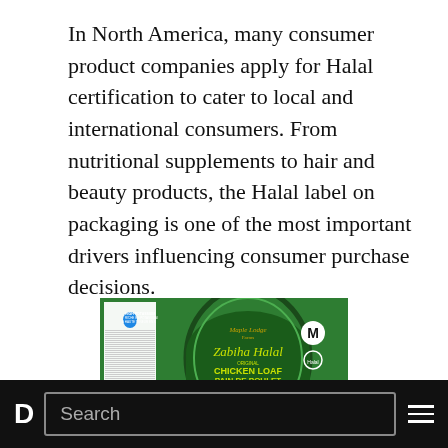In North America, many consumer product companies apply for Halal certification to cater to local and international consumers. From nutritional supplements to hair and beauty products, the Halal label on packaging is one of the most important drivers influencing consumer purchase decisions.
[Figure (photo): Maple Lodge Farms Zabiha Halal Original Chicken Loaf / Pain de Poulet product packaging on a green background, showing the Halal certification label, Nutrition Facts panel, and a slice of chicken loaf.]
D  Search  ≡